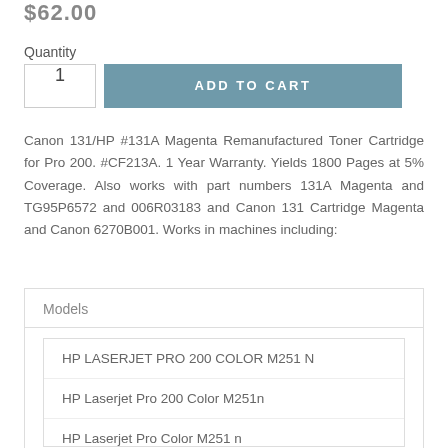$62.00
Quantity
1
ADD TO CART
Canon 131/HP #131A Magenta Remanufactured Toner Cartridge for Pro 200. #CF213A. 1 Year Warranty. Yields 1800 Pages at 5% Coverage. Also works with part numbers 131A Magenta and TG95P6572 and 006R03183 and Canon 131 Cartridge Magenta and Canon 6270B001. Works in machines including:
Models
HP LASERJET PRO 200 COLOR M251 N
HP Laserjet Pro 200 Color M251n
HP Laserjet Pro Color M251 n